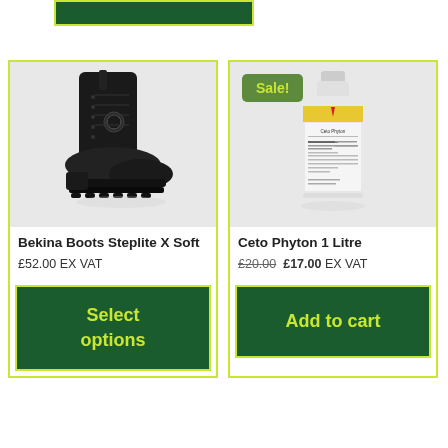[Figure (screenshot): Top portion of a green 'Select options' button partially visible at top of page]
[Figure (photo): Bekina Boots Steplite X Soft - black rubber wellington/safety boots shown on white background]
Bekina Boots Steplite X Soft
£52.00 EX VAT
Select options
Sale!
[Figure (photo): Ceto Phyton 1 Litre - white cylindrical bottle with yellow and red label details on light grey background]
Ceto Phyton 1 Litre
£20.00 £17.00 EX VAT
Add to cart